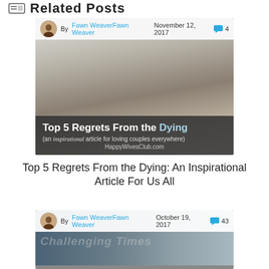Related Posts
[Figure (screenshot): Blog post card: By Fawn WeaverFawn Weaver November 12, 2017, 4 comments. Image titled 'Top 5 Regrets From the Dying (an inspirational article for loving couples everywhere)' HappyWivesClub.com]
Top 5 Regrets From the Dying: An Inspirational Article For Us All
[Figure (screenshot): Blog post card: By Fawn WeaverFawn Weaver October 19, 2017, 43 comments. Challenging Times article image.]